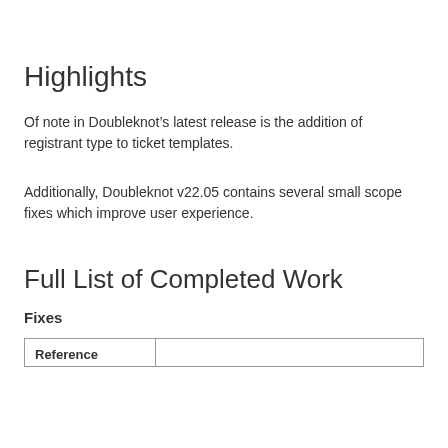Highlights
Of note in Doubleknot’s latest release is the addition of registrant type to ticket templates.
Additionally, Doubleknot v22.05 contains several small scope fixes which improve user experience.
Full List of Completed Work
Fixes
| Reference |  |
| --- | --- |